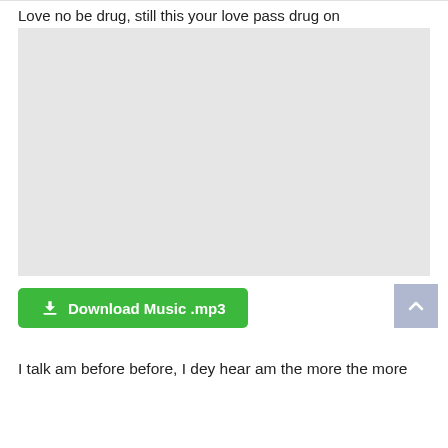Love no be drug, still this your love pass drug on
[Figure (other): Large light gray placeholder image/video embed area]
Download Music .mp3
I talk am before before, I dey hear am the more the more